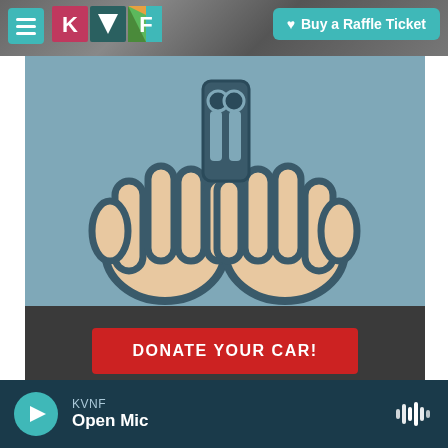[Figure (screenshot): Website screenshot of KVNF public radio with navigation header, car donation illustration (two hands holding a car key), dark strip with red DONATE YOUR CAR button, and audio player bar showing Open Mic]
Buy a Raffle Ticket
DONATE YOUR CAR!
KVNF
Open Mic